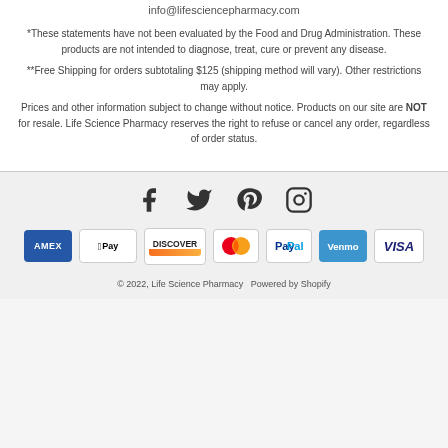info@lifesciencepharmacy.com
*These statements have not been evaluated by the Food and Drug Administration. These products are not intended to diagnose, treat, cure or prevent any disease.
**Free Shipping for orders subtotaling $125 (shipping method will vary). Other restrictions may apply.
Prices and other information subject to change without notice. Products on our site are NOT for resale. Life Science Pharmacy reserves the right to refuse or cancel any order, regardless of order status.
[Figure (illustration): Social media icons: Facebook, Twitter, Pinterest, Instagram]
[Figure (illustration): Payment method icons: American Express, Apple Pay, Discover, Mastercard, PayPal, Venmo, Visa]
© 2022, Life Science Pharmacy  Powered by Shopify